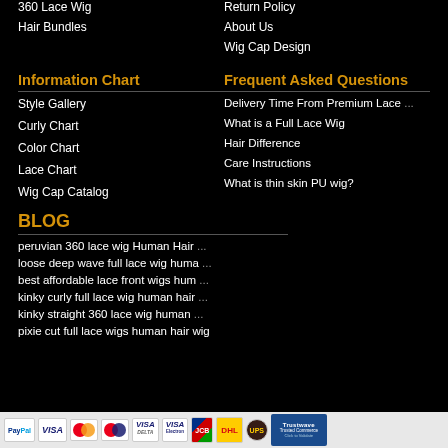360 Lace Wig
Return Policy
Hair Bundles
About Us
Wig Cap Design
Information Chart
Frequent Asked Questions
Style Gallery
Delivery Time From Premium Lace ...
Curly Chart
What is a Full Lace Wig
Color Chart
Hair Difference
Lace Chart
Care Instructions
Wig Cap Catalog
What is thin skin PU wig?
BLOG
peruvian 360 lace wig Human Hair ...
loose deep wave full lace wig huma ...
best affordable lace front wigs hum ...
kinky curly full lace wig human hair ...
kinky straight 360 lace wig human ...
pixie cut full lace wigs human hair wig
[Figure (infographic): Payment method logos: PayPal, VISA, Mastercard, Maestro, VISA, VISA Electron, JCB, DHL, UPS, and Trustwave Trusted Commerce badge]